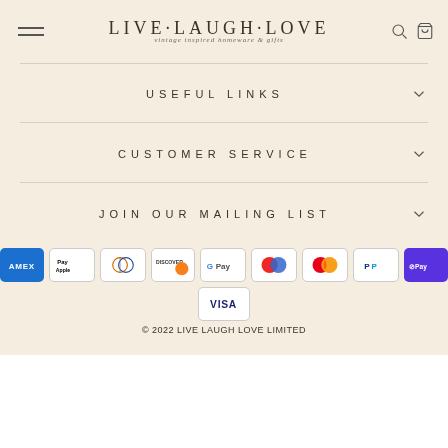LIVE · LAUGH · LOVE vintage inspired homeware & gifts
USEFUL LINKS
CUSTOMER SERVICE
JOIN OUR MAILING LIST
[Figure (other): Payment method icons: American Express, Apple Pay, Diners Club, Discover, Google Pay, Maestro, Mastercard, PayPal, Shopify Pay, Visa]
© 2022 LIVE LAUGH LOVE LIMITED